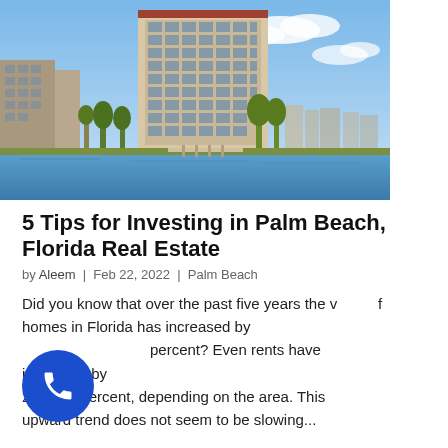[Figure (photo): Photograph of a tall modern condominium building with many glass windows, surrounded by palm trees and tropical greenery, situated along a waterway on a sunny day with blue sky and clouds.]
5 Tips for Investing in Palm Beach, Florida Real Estate
by Aleem  |  Feb 22, 2022  |  Palm Beach
Did you know that over the past five years the value of homes in Florida has increased by [amount] percent? Even rents have increased by 25 to 31 percent, depending on the area. This upward trend does not seem to be slowing...